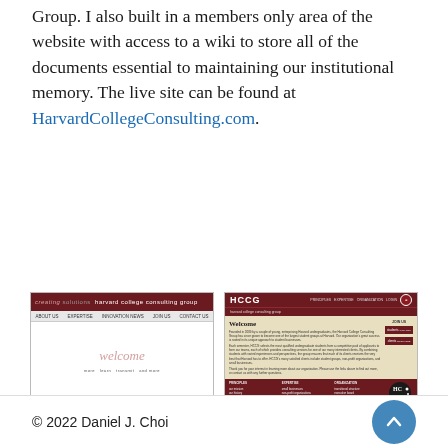Group. I also built in a members only area of the website with access to a wiki to store all of the documents essential to maintaining our institutional memory. The live site can be found at HarvardCollegeConsulting.com.
[Figure (screenshot): Left screenshot: old Harvard College Consulting Group website with dark red header, 'creating solutions' tagline, white body with pink 'welcome' text, and dark red footer.]
[Figure (screenshot): Right screenshot: new HCCG website with dark red header showing 'HCCG' logo and navigation, tan/beige body with Welcome section, JOIN US sidebar with student/clients buttons, HCCG logo circle, and dark red footer with columns for Principles, Expertise, Organization.]
© 2022 Daniel J. Choi